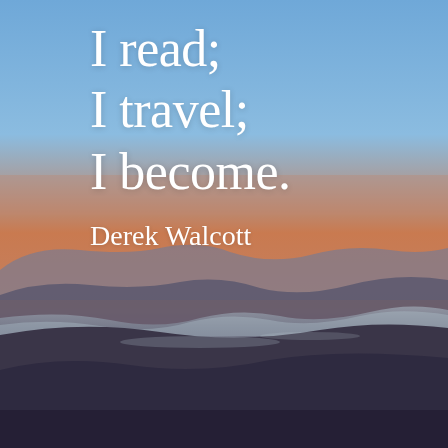[Figure (photo): Aerial or elevated view of a coastal landscape at dusk/sunset. The sky transitions from blue at the top through orange and pink near the horizon, and the lower half shows dark silhouetted hills or mountains with a reflective body of water or estuary visible in the middle ground.]
I read; I travel; I become.
Derek Walcott